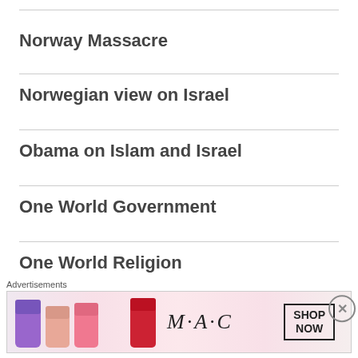Norway Massacre
Norwegian view on Israel
Obama on Islam and Israel
One World Government
One World Religion
Pope John Paul II
Pope Pius XII
[Figure (other): M·A·C cosmetics advertisement showing lipsticks with 'SHOP NOW' button]